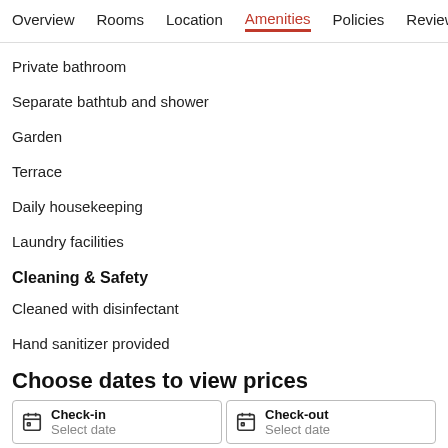Overview  Rooms  Location  Amenities  Policies  Reviews
Private bathroom
Separate bathtub and shower
Garden
Terrace
Daily housekeeping
Laundry facilities
Cleaning & Safety
Cleaned with disinfectant
Hand sanitizer provided
Personal protective equipment
Social distancing
Choose dates to view prices
Check-in  Select date
Check-out  Select date